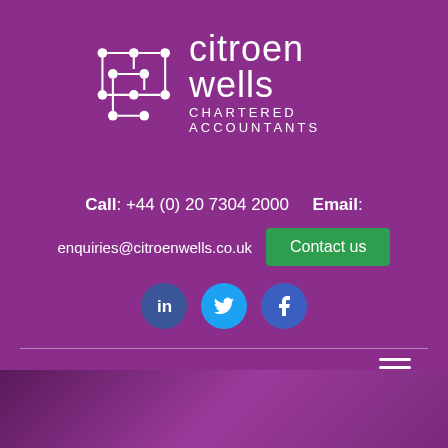[Figure (logo): Citroen Wells Chartered Accountants logo with network/circuit dot pattern graphic and company name]
Call: +44 (0) 20 7304 2000   Email:
enquiries@citroenwells.co.uk
Contact us
[Figure (infographic): Social media icons: LinkedIn, Twitter, Facebook]
MENU